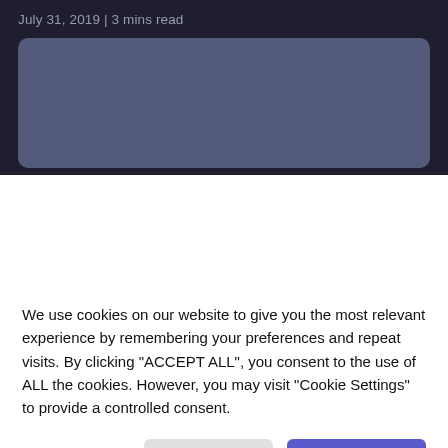July 31, 2019 | 3 mins read
[Figure (photo): A blue-grey rectangular image placeholder with rounded corners on a dark background]
We use cookies on our website to give you the most relevant experience by remembering your preferences and repeat visits. By clicking "ACCEPT ALL", you consent to the use of ALL the cookies. However, you may visit "Cookie Settings" to provide a controlled consent.
Cookie Settings   REJECT ALL   ACCEPT ALL